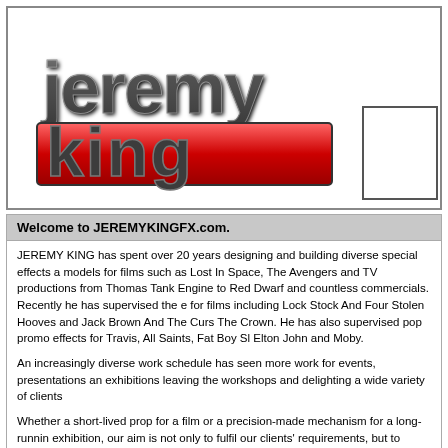[Figure (logo): Jeremy King FX logo with stylized chrome text 'jeremy' on dark background and 'king' on red background]
Welcome to JEREMYKINGFX.com.
JEREMY KING has spent over 20 years designing and building diverse special effects and models for films such as Lost In Space, The Avengers and TV productions from Thomas The Tank Engine to Red Dwarf and countless commercials. Recently he has supervised the effects for films including Lock Stock And Four Stolen Hooves and Jack Brown And The Curse of The Crown. He has also supervised pop promo effects for Travis, All Saints, Fat Boy Slim, Elton John and Moby.
An increasingly diverse work schedule has seen more work for events, presentations and exhibitions leaving the workshops and delighting a wide variety of clients
Whether a short-lived prop for a film or a precision-made mechanism for a long-running exhibition, our aim is not only to fulfil our clients' requirements, but to amaze them with our creative versatility.
SERVICES WE PROVIDE: SPECIAL EFFECTS, MODELS & DESIGN, SPECIAL CONSTRUCTION & INTERACTIVE EXHIBITS.